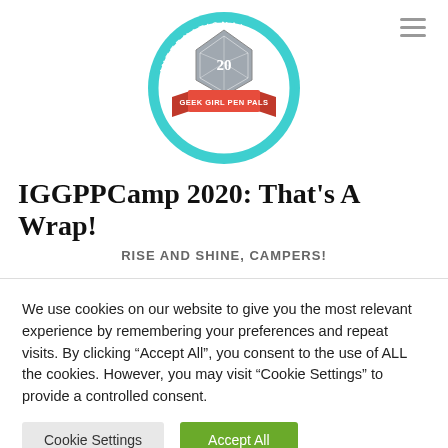[Figure (logo): International Geek Girl Pen Pals Club circular logo with teal border, a d20 dice in center, and a pink/red ribbon banner reading GEEK GIRL PEN PALS]
IGGPPCamp 2020: That's A Wrap!
RISE AND SHINE, CAMPERS!
We use cookies on our website to give you the most relevant experience by remembering your preferences and repeat visits. By clicking “Accept All”, you consent to the use of ALL the cookies. However, you may visit "Cookie Settings" to provide a controlled consent.